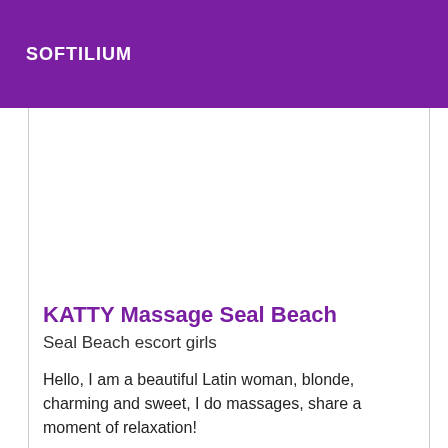SOFTILIUM
KATTY Massage Seal Beach
Seal Beach escort girls
Hello, I am a beautiful Latin woman, blonde, charming and sweet, I do massages, share a moment of relaxation!